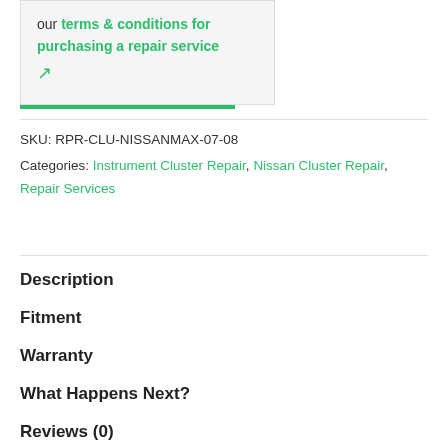our terms & conditions for purchasing a repair service [external link icon]
SKU: RPR-CLU-NISSANMAX-07-08
Categories: Instrument Cluster Repair, Nissan Cluster Repair, Repair Services
Description
Fitment
Warranty
What Happens Next?
Reviews (0)